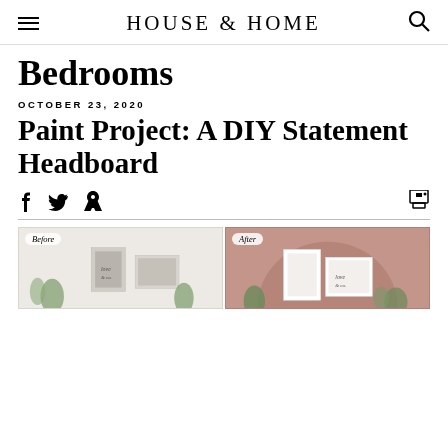HOUSE & HOME
Bedrooms
OCTOBER 23, 2020
Paint Project: A DIY Statement Headboard
[Figure (photo): Before and after photos of a DIY painted headboard. Left panel labeled 'Before' shows a plain white wall with framed artwork and plants. Right panel labeled 'After' shows a mauve/dusty rose painted arch headboard shape on the wall with framed artwork and plants.]